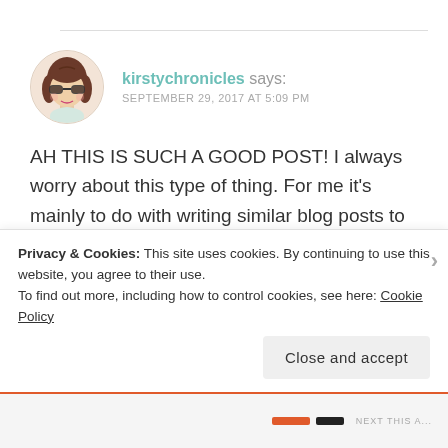[Figure (illustration): Circular avatar of a cartoon girl with brown hair and round sunglasses]
kirstychronicles says: SEPTEMBER 29, 2017 AT 5:09 PM
AH THIS IS SUCH A GOOD POST! I always worry about this type of thing. For me it's mainly to do with writing similar blog posts to someone else. More than once I've had a post scheduled and then someone else has posted a really similar post the day before or something, and I always end up cancelling it because I don't want them to feel like
Privacy & Cookies: This site uses cookies. By continuing to use this website, you agree to their use.
To find out more, including how to control cookies, see here: Cookie Policy
Close and accept